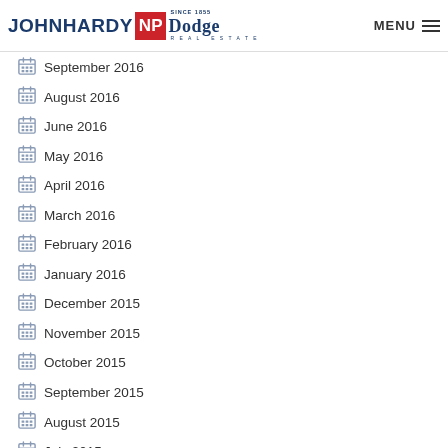JOHN HARDY NP Dodge Real Estate — MENU
September 2016
August 2016
June 2016
May 2016
April 2016
March 2016
February 2016
January 2016
December 2015
November 2015
October 2015
September 2015
August 2015
July 2015
June 2015
May 2015
April 2015